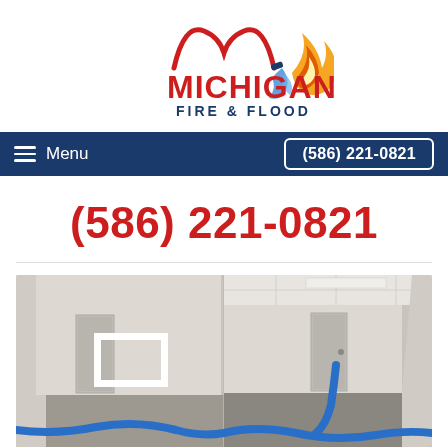[Figure (logo): Michigan Fire & Flood logo with red fire hose forming letter M, blue water splash, and orange flame]
Menu  (586) 221-0821
(586) 221-0821
[Figure (photo): Before and after split photo of a flooded room with blue water extraction hoses on the floor, grey walls, and drop ceiling]